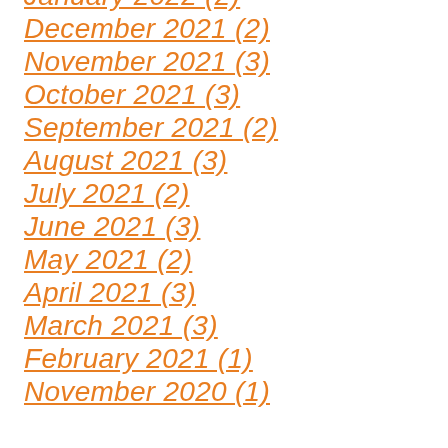January 2022 (2)
December 2021 (2)
November 2021 (3)
October 2021 (3)
September 2021 (2)
August 2021 (3)
July 2021 (2)
June 2021 (3)
May 2021 (2)
April 2021 (3)
March 2021 (3)
February 2021 (1)
November 2020 (1)